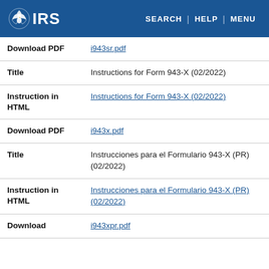IRS | SEARCH | HELP | MENU
| Download PDF | i943sr.pdf |
| Title | Instructions for Form 943-X (02/2022) |
| Instruction in HTML | Instructions for Form 943-X (02/2022) |
| Download PDF | i943x.pdf |
| Title | Instrucciones para el Formulario 943-X (PR) (02/2022) |
| Instruction in HTML | Instrucciones para el Formulario 943-X (PR) (02/2022) |
| Download | i943xpr.pdf |